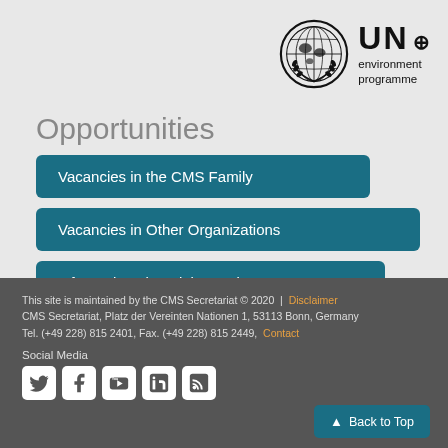[Figure (logo): UN Environment Programme logo with globe emblem and 'UN environment programme' text]
Opportunities
Vacancies in the CMS Family
Vacancies in Other Organizations
Information about job openings
This site is maintained by the CMS Secretariat © 2020  |  Disclaimer
CMS Secretariat, Platz der Vereinten Nationen 1, 53113 Bonn, Germany
Tel. (+49 228) 815 2401, Fax. (+49 228) 815 2449,  Contact
Social Media
[Figure (infographic): Social media icons: Twitter, Facebook, YouTube, LinkedIn, RSS feed]